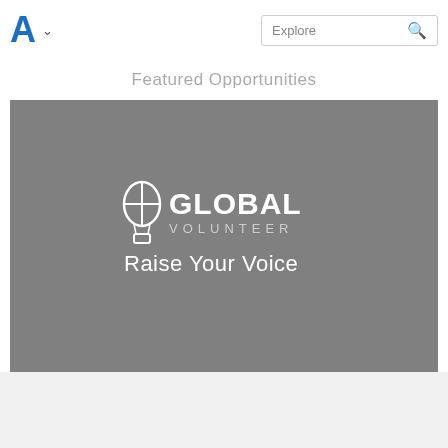A  Explore
Featured Opportunities
[Figure (logo): Global Volunteer logo with hot air balloon icon and text 'GLOBAL VOLUNTEER' with tagline 'Raise Your Voice' on a grey background]